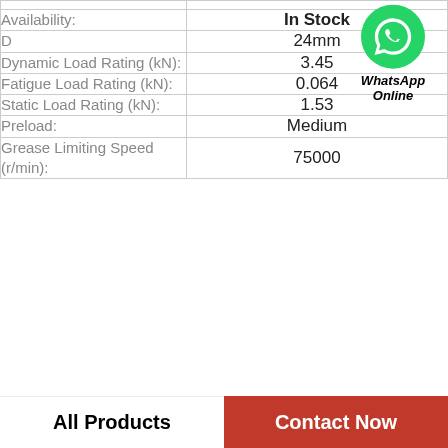| Property | Value |
| --- | --- |
| Availability: | In Stock |
| D | 24mm |
| Dynamic Load Rating (kN): | 3.45 |
| Fatigue Load Rating (kN): | 0.064 |
| Static Load Rating (kN): | 1.53 |
| Preload: | Medium |
| Grease Limiting Speed (r/min): | 75000 |
[Figure (logo): WhatsApp green phone icon with text 'WhatsApp Online']
All Products
Contact Now